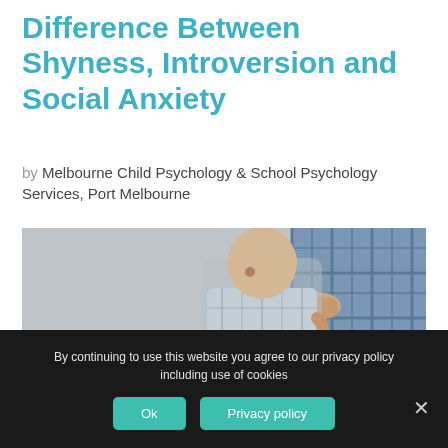Difference Between Shyness, Introversion and Social Anxiety
by Melbourne Child Psychology & School Psychology Services, Port Melbourne
[Figure (photo): A child clinging to an adult's side, wearing a plaid shirt, with the adult's hand resting on the child's shoulder. The image is in a cool, desaturated blue tone with a light gray background.]
By continuing to use this website you agree to our privacy policy including use of cookies
Ok
Privacy policy